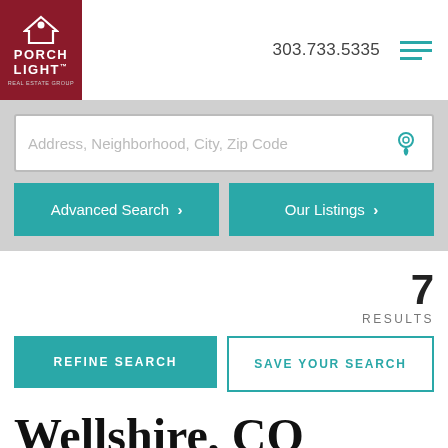[Figure (logo): Porch Light Real Estate Group logo - white text on dark red background with house icon]
303.733.5335
[Figure (other): Hamburger menu icon with three teal horizontal lines]
Address, Neighborhood, City, Zip Code
Advanced Search >
Our Listings >
7
RESULTS
REFINE SEARCH
SAVE YOUR SEARCH
Wellshire, CO